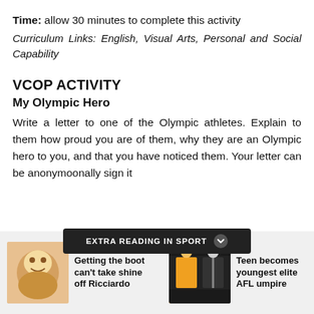Time: allow 30 minutes to complete this activity
Curriculum Links: English, Visual Arts, Personal and Social Capability
VCOP ACTIVITY
My Olympic Hero
Write a letter to one of the Olympic athletes. Explain to them how proud you are of them, why they are an Olympic hero to you, and that you have noticed them. Your letter can be anonymo... ...onally sign it
EXTRA READING IN SPORT
[Figure (photo): Cartoon illustration thumbnail for article about Ricciardo]
Getting the boot can't take shine off Ricciardo
[Figure (photo): Photo of AFL players on field for article about teen youngest elite AFL umpire]
Teen becomes youngest elite AFL umpire
[Figure (photo): Photo thumbnail partially visible on right edge]